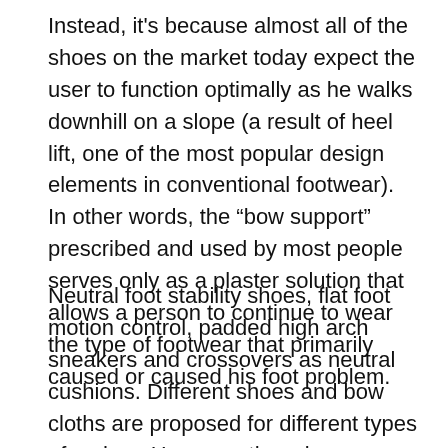Instead, it's because almost all of the shoes on the market today expect the user to function optimally as he walks downhill on a slope (a result of heel lift, one of the most popular design elements in conventional footwear). In other words, the “bow support” prescribed and used by most people serves only as a plaster solution that allows a person to continue to wear the type of footwear that primarily caused or caused his foot problem.
Neutral foot stability shoes, flat foot motion control, padded high arch sneakers and crossovers as neutral cushions. Different shoes and bow cloths are proposed for different types of arches. However, there is no conclusive study to confirm that a specific type of shoe can correct the